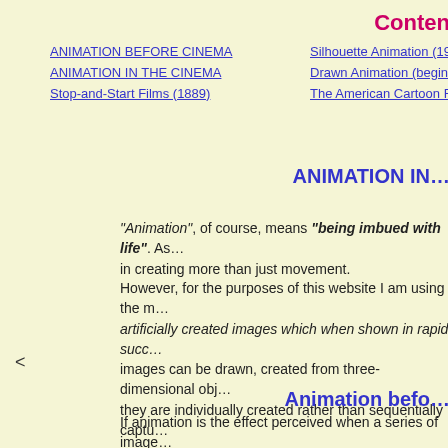Conten
ANIMATION BEFORE CINEMA
ANIMATION IN THE CINEMA
Stop-and-Start Films (1889)
Silhouette Animation (190...
Drawn Animation (beginni...
The American Cartoon Fil...
ANIMATION IN...
"Animation", of course, means "being imbued with life". As... in creating more than just movement.
However, for the purposes of this website I am using the m... artificially created images which when shown in rapid succ... images can be drawn, created from three-dimensional obj... they are individually created rather than sequentially captu...
<
Animation befo...
If animation is the effect perceived when a series of image... mechanism to achieve this. The simplest technology is pro... commercially successful were the "scientific" stroboscopic... phenakistoscope, was created in 1832 by Belgian physicis... collaboration with artist J.B. Madou, designed several dis... tried their hand.